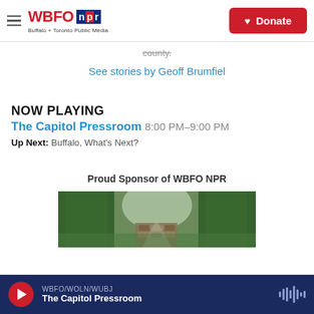WBFO npr Buffalo + Toronto Public Media | Donate
county.
See stories by Geoff Brumfiel
NOW PLAYING
The Capitol Pressroom 8:00 PM–9:00 PM
Up Next: Buffalo, What's Next?
Proud Sponsor of WBFO NPR
[Figure (photo): Forest path with stone wall and dense green trees on both sides]
WBFO/WOLN/WUBJ | The Capitol Pressroom